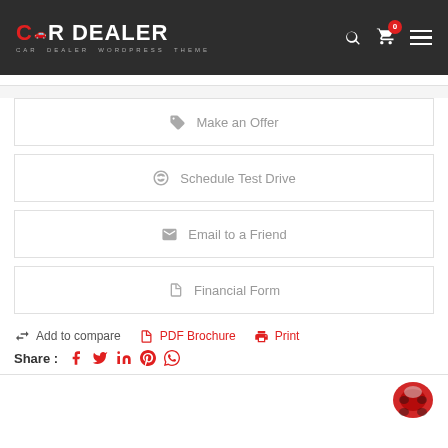CAR DEALER - CAR DEALER WORDPRESS THEME
Make an Offer
Schedule Test Drive
Email to a Friend
Financial Form
Add to compare   PDF Brochure   Print
Share:
[Figure (screenshot): Red car top-view partial image in bottom right corner]